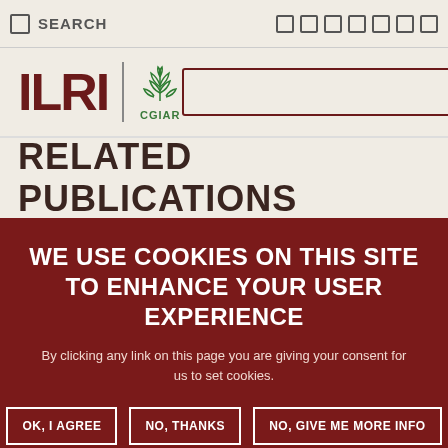SEARCH
[Figure (logo): ILRI CGIAR logo with wheat/plant emblem in green]
RELATED PUBLICATIONS
WE USE COOKIES ON THIS SITE TO ENHANCE YOUR USER EXPERIENCE
By clicking any link on this page you are giving your consent for us to set cookies.
OK, I AGREE | NO, THANKS | NO, GIVE ME MORE INFO